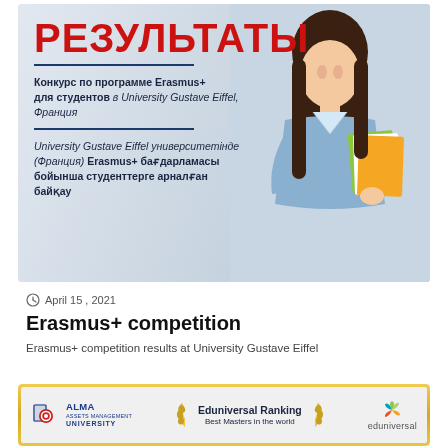[Figure (illustration): Banner image showing a female student holding colorful notebooks/folders, with Russian and Kazakh text overlay. Red heading 'РЕЗУЛЬТАТЫ', contest description text in Russian and Kazakh languages, navy blue divider lines.]
April 15 , 2021
Erasmus+ competition
Erasmus+ competition results at University Gustave Eiffel
[Figure (logo): Bottom card with golden border showing ALMA University logo on the left and eduniversal logo on the right, with 'Eduniversal Ranking Best Masters in the world' text in the center with laurel wreaths.]